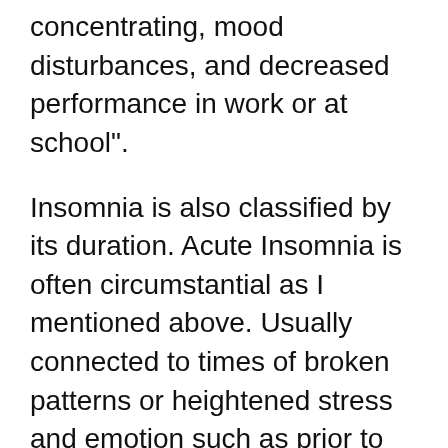concentrating, mood disturbances, and decreased performance in work or at school".
Insomnia is also classified by its duration. Acute Insomnia is often circumstantial as I mentioned above. Usually connected to times of broken patterns or heightened stress and emotion such as prior to an exam or around an unpleasant life event such as death or divorce. It may be considered 'Transient' meaning it lasts only a few days or 'Short Term' meaning it lasts only a few weeks. Due to its nature it is often short lasting and